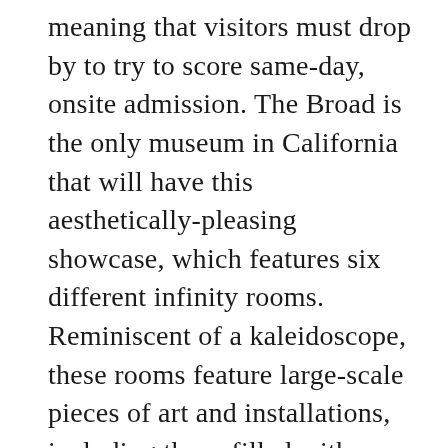meaning that visitors must drop by to try to score same-day, onsite admission. The Broad is the only museum in California that will have this aesthetically-pleasing showcase, which features six different infinity rooms. Reminiscent of a kaleidoscope, these rooms feature large-scale pieces of art and installations, including those filled with lights, polka dots and pumpkins. It's the perfect place for some snapshots as the works are very beautiful. This also marks the first visiting special exhibit for the museum.